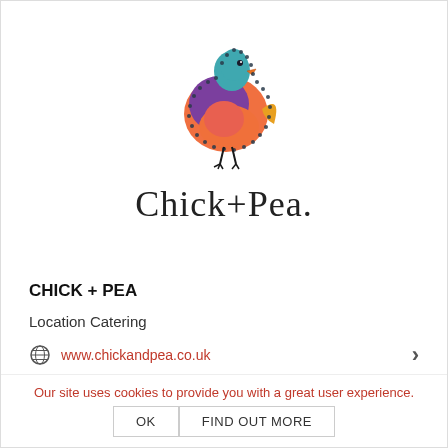[Figure (logo): Chick+Pea logo: a stylized decorative chick bird with a dotted border outline, filled with teal, purple, orange gradient colors and a small orange beak, with thin black legs, above the text 'Chick+Pea' in serif font]
CHICK + PEA
Location Catering
www.chickandpea.co.uk
Our site uses cookies to provide you with a great user experience.
OK
FIND OUT MORE